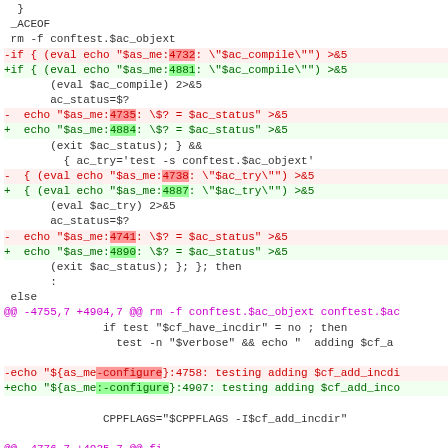[Figure (screenshot): A diff/patch view of shell script code showing line number changes (4732→4881, 4735→4884, 4738→4887, 4741→4890, 4758→4907, 4755→4904, 4776→4925) with red lines for removed code and green lines for added code, magenta lines for hunk headers.]